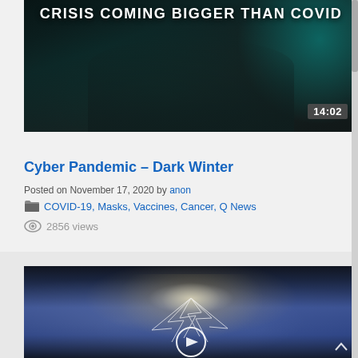[Figure (screenshot): Video thumbnail showing hacker at computer with text 'CRISIS COMING BIGGER THAN COVID' in white bold letters on dark background with teal/cyan glow]
Cyber Pandemic – Dark Winter
Posted on November 17, 2020 by anon
COVID-19, Masks, Vaccines, Cancer, Q News
2856 views
[Figure (screenshot): Video thumbnail showing two hands with lightning bolt between them, dramatic stormy sky background, with play button overlay and chevron up arrow]